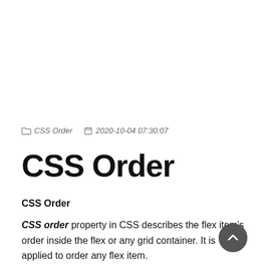CSS Order   2020-10-04 07:30:07
CSS Order
CSS Order
CSS order property in CSS describes the flex item's order inside the flex or any grid container. It is applied to order any flex item.